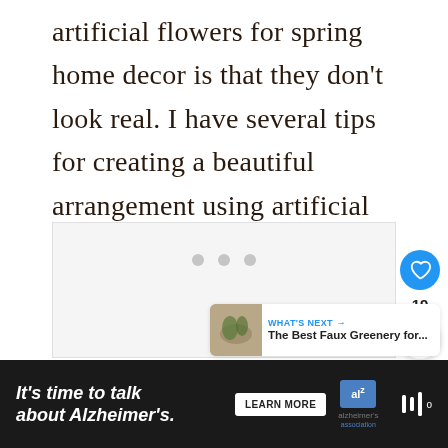artificial flowers for spring home decor is that they don't look real. I have several tips for creating a beautiful arrangement using artificial stems.
[Figure (other): Media placeholder with loading dots, like button (heart icon, count 19), and share button]
[Figure (other): What's Next panel: The Best Faux Greenery for...]
It's time to talk about Alzheimer's. LEARN MORE